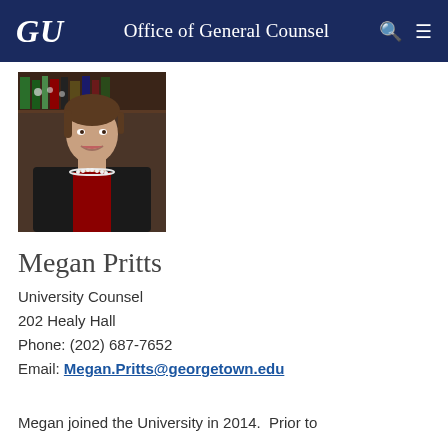GU  Office of General Counsel
[Figure (photo): Professional headshot of Megan Pritts, a woman in a dark blazer and red top with pearl necklace, smiling, with bookshelves in background]
Megan Pritts
University Counsel
202 Healy Hall
Phone: (202) 687-7652
Email: Megan.Pritts@georgetown.edu
Megan joined the University in 2014.  Prior to